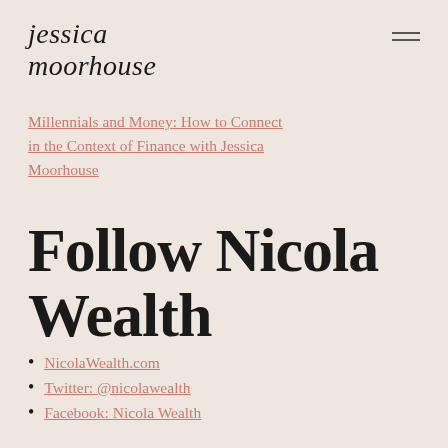jessica moorhouse
Millennials and Money: How to Connect in the Context of Finance with Jessica Moorhouse
Follow Nicola Wealth
NicolaWealth.com
Twitter: @nicolawealth
Facebook: Nicola Wealth